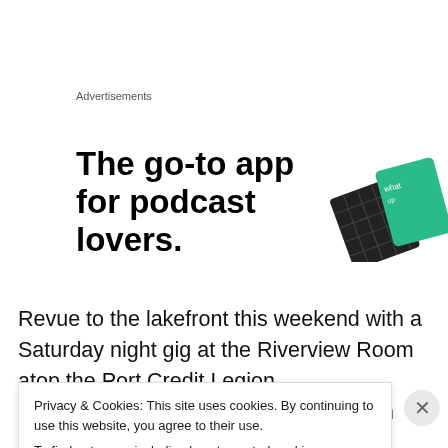Advertisements
[Figure (illustration): Advertisement banner: 'The go-to app for podcast lovers.' with a graphic of a dark tablet/phone device and a green card with text 'what's up']
Revue to the lakefront this weekend with a Saturday night gig at the Riverview Room atop the Port Credit Legion … and always-in-demand music man Tom Szczesniak joins
Privacy & Cookies: This site uses cookies. By continuing to use this website, you agree to their use.
To find out more, including how to control cookies, see here: Cookie Policy
Close and accept